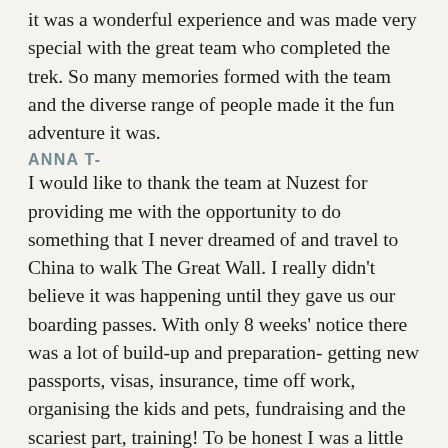it was a wonderful experience and was made very special with the great team who completed the trek. So many memories formed with the team and the diverse range of people made it the fun adventure it was.
ANNA T-
I would like to thank the team at Nuzest for providing me with the opportunity to do something that I never dreamed of and travel to China to walk The Great Wall. I really didn't believe it was happening until they gave us our boarding passes. With only 8 weeks' notice there was a lot of build-up and preparation- getting new passports, visas, insurance, time off work, organising the kids and pets, fundraising and the scariest part, training! To be honest I was a little panicked after doing some research and reading all of the information sent from Inspired Adventures. Luckily, we live in a pretty awesome place with a mountain to practice walking at altitude and found some places close to home with lots of steps to train for the stairs we would be climbing.
So, when time would allow, my husband and I walked up